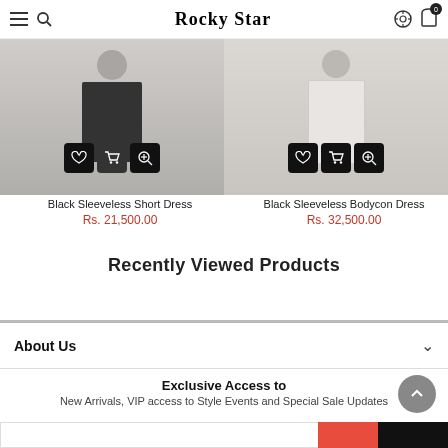Rocky Star
[Figure (photo): Two product images showing dresses with action buttons (wishlist, cart, zoom) overlaid at bottom]
Black Sleeveless Short Dress
Rs. 21,500.00
Black Sleeveless Bodycon Dress
Rs. 32,500.00
Recently Viewed Products
About Us
Exclusive Access to
New Arrivals, VIP access to Style Events and Special Sale Updates